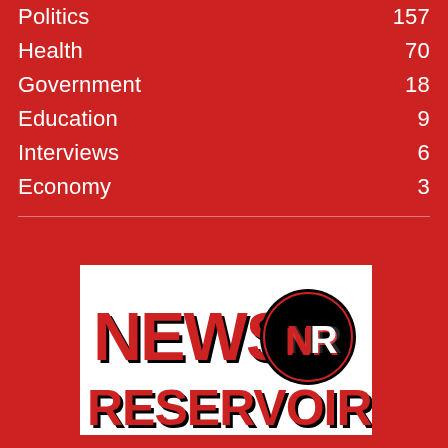Politics  157
Health  70
Government  18
Education  9
Interviews  6
Economy  3
[Figure (logo): News Reservoir logo: text NEWS RESERVOIR in bold red serif font with black shadow/outline, and a black circle with NR initials in red and white]